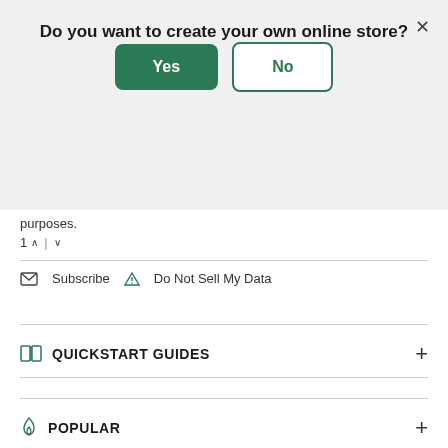Do you want to create your own online store?
Yes | No (modal buttons)
purposes.
1 ∧ | ∨
Subscribe   Do Not Sell My Data
QUICKSTART GUIDES
POPULAR
LATEST